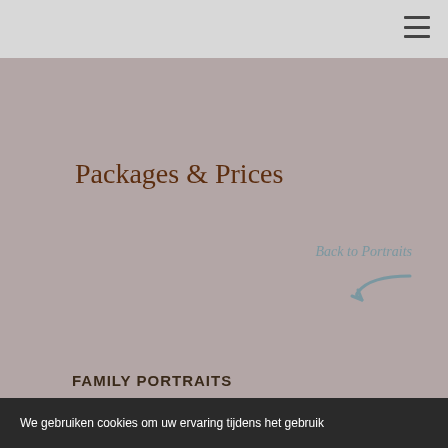☰
Packages & Prices
Back to Portraits
FAMILY PORTRAITS
We gebruiken cookies om uw ervaring tijdens het gebruik